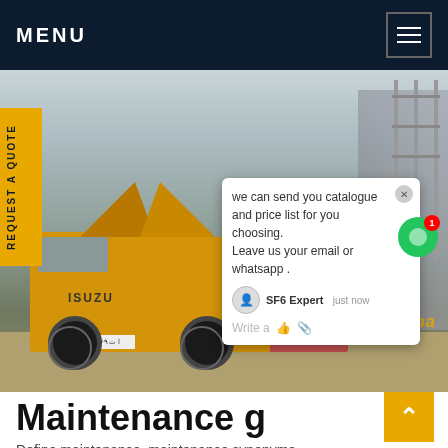MENU
[Figure (photo): Yellow Isuzu maintenance truck at an electrical substation with SF6 equipment, chat popup overlay showing 'we can send you catalogue and price list for you choosing. Leave us your email or whatsapp .' with SF6Expert label and just now timestamp. Watermark reads SF6China.]
REQUEST A QUOTE
Maintenance g
Define maintenance. maintenance synonyms, maintenance pronunciation, maintenance